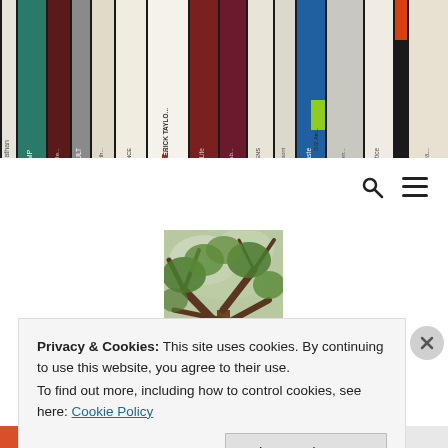[Figure (photo): A bookshelf showing book spines including titles: Leviathan and the Air-Pump, The Structure of Scientific Revolutions, Foucault, The Birth of the..., Theory and Reality (Introduction to the Philosophy of Science), Exorcising Hit... Frederick Taylo..., Laboratory Life, Against Method (Paul Feyerab...), Fashionable Nonsense, al and Jean Bricmont, On of Caste, D.R. Am..., The Last 100 Days, The Idea of Justice]
[Figure (photo): A photo of a tree canopy viewed from below, showing branches and leaves against a light sky, in portrait orientation]
Privacy & Cookies: This site uses cookies. By continuing to use this website, you agree to their use.
To find out more, including how to control cookies, see here: Cookie Policy
Close and accept